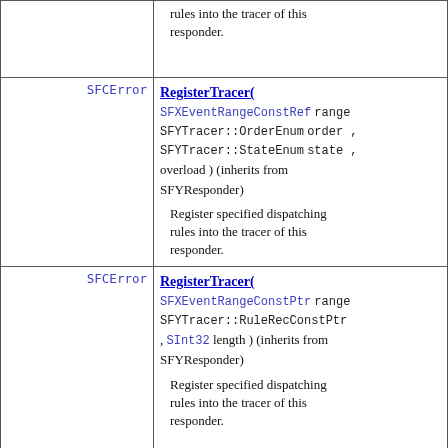| Return | Method / Description |
| --- | --- |
|  | rules into the tracer of this responder. |
| SFCError | RegisterTracer( SFXEventRangeConstRef range, SFYTracer::OrderEnum order, SFYTracer::StateEnum state, overload ) (inherits from SFYResponder)
Register specified dispatching rules into the tracer of this responder. |
| SFCError | RegisterTracer( SFXEventRangeConstPtr range, SFYTracer::RuleRecConstPtr , SInt32 length ) (inherits from SFYResponder)
Register specified dispatching rules into the tracer of this responder. |
| SFCError | RegisterTracer( |